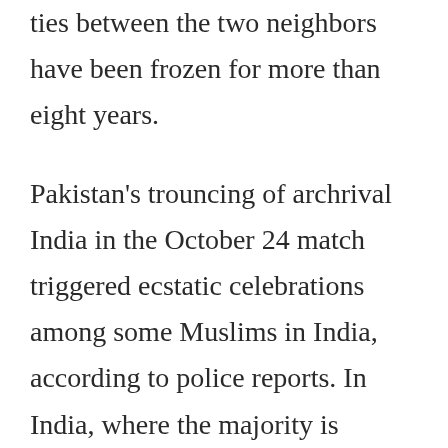ties between the two neighbors have been frozen for more than eight years.
Pakistan's trouncing of archrival India in the October 24 match triggered ecstatic celebrations among some Muslims in India, according to police reports. In India, where the majority is Hindu, those celebrating Pakistan's victory are viewed as anti-nationals or enemies of India.